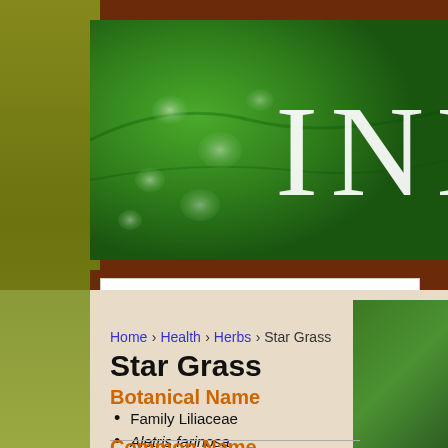[Figure (photo): Green banner header with large white letters 'INN' visible, showing water droplets on green leaves background]
— Main Menu —
Home › Health › Herbs › Star Grass
Star Grass
Botanical Name
Family Liliaceae
Aletris farinosa
Common Name